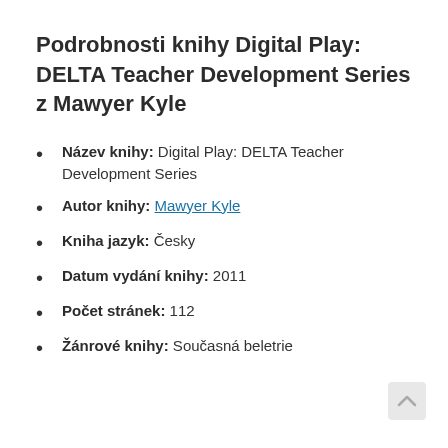Podrobnosti knihy Digital Play: DELTA Teacher Development Series z Mawyer Kyle
Název knihy: Digital Play: DELTA Teacher Development Series
Autor knihy: Mawyer Kyle
Kniha jazyk: Česky
Datum vydání knihy: 2011
Počet stránek: 112
Žánrové knihy: Současná beletrie